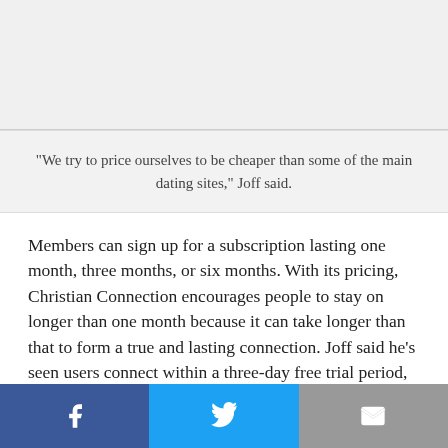[Figure (photo): Image area at top of article (content not visible in this crop)]
“We try to price ourselves to be cheaper than some of the main dating sites,” Joff said.
Members can sign up for a subscription lasting one month, three months, or six months. With its pricing, Christian Connection encourages people to stay on longer than one month because it can take longer than that to form a true and lasting connection. Joff said he’s seen users connect within a three-day free trial period, but it’s rarer.
The site welcomes members in new areas by upgrading these people to memberships with full access for free. This
[Figure (infographic): Social share bar with Facebook, Twitter, and email buttons]